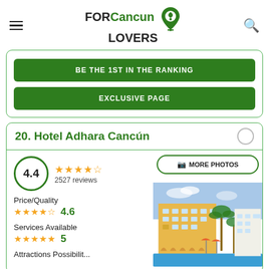FOR Cancun LOVERS
BE THE 1ST IN THE RANKING
EXCLUSIVE PAGE
20. Hotel Adhara Cancún
4.4 — 2527 reviews
Price/Quality 4.6
Services Available 5
[Figure (photo): Hotel Adhara Cancún exterior with pool, yellow building, and palm trees]
MORE PHOTOS